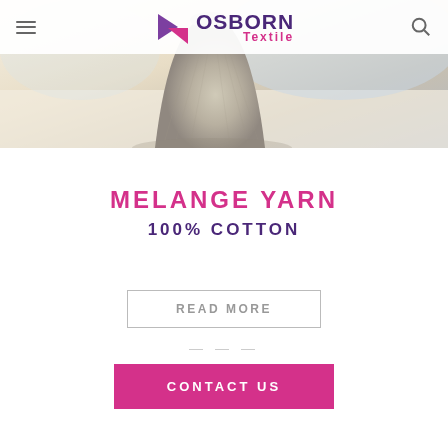Osborn Textile
[Figure (photo): Close-up photo of a yarn cone/spool in beige/grey tones on a light surface, with soft focus background showing blue tones]
MELANGE YARN
100% COTTON
READ MORE
CONTACT US